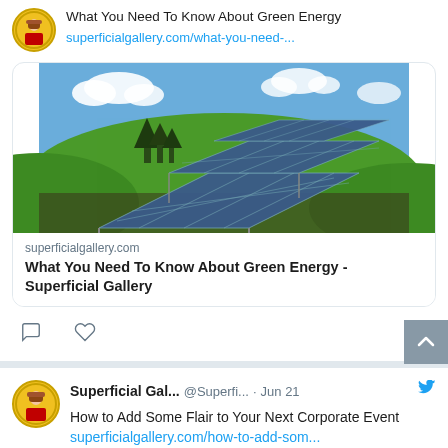[Figure (screenshot): Twitter/social media feed screenshot showing two tweets from Superficial Gallery account. First tweet (partial, top): avatar icon, title 'What You Need To Know About Green Energy', link 'superficialgallery.com/what-you-need-...', with a link card showing a solar panel photo, domain 'superficialgallery.com', card title 'What You Need To Know About Green Energy - Superficial Gallery', and comment/like icons. Second tweet: avatar, 'Superficial Gal... @Superfi... · Jun 21' with Twitter bird icon, text 'How to Add Some Flair to Your Next Corporate Event superficialgallery.com/how-to-add-som...' and partial image at bottom.]